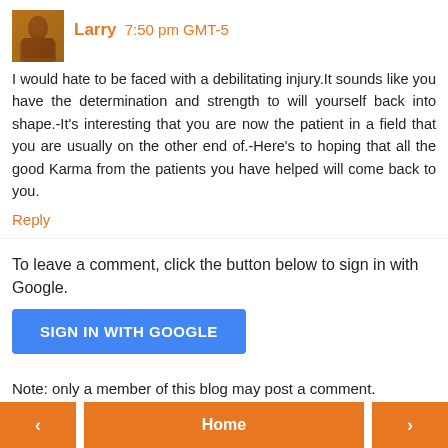Larry 7:50 pm GMT-5
I would hate to be faced with a debilitating injury.It sounds like you have the determination and strength to will yourself back into shape.-It's interesting that you are now the patient in a field that you are usually on the other end of.-Here's to hoping that all the good Karma from the patients you have helped will come back to you.
Reply
To leave a comment, click the button below to sign in with Google.
[Figure (other): Blue button labeled SIGN IN WITH GOOGLE]
Note: only a member of this blog may post a comment.
< Home >